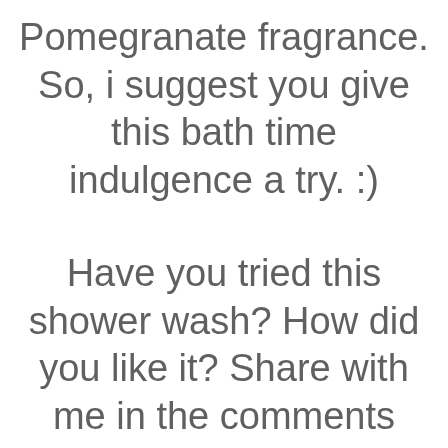Pomegranate fragrance. So, i suggest you give this bath time indulgence a try. :)
Have you tried this shower wash? How did you like it? Share with me in the comments section below. :)